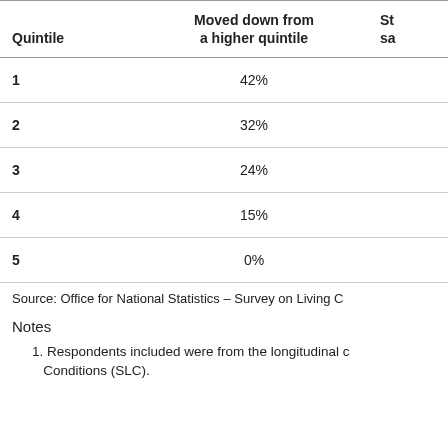| Quintile | Moved down from a higher quintile | St sa |
| --- | --- | --- |
| 1 | 42% |  |
| 2 | 32% |  |
| 3 | 24% |  |
| 4 | 15% |  |
| 5 | 0% |  |
Source: Office for National Statistics – Survey on Living C
Notes
1. Respondents included were from the longitudinal c Conditions (SLC).